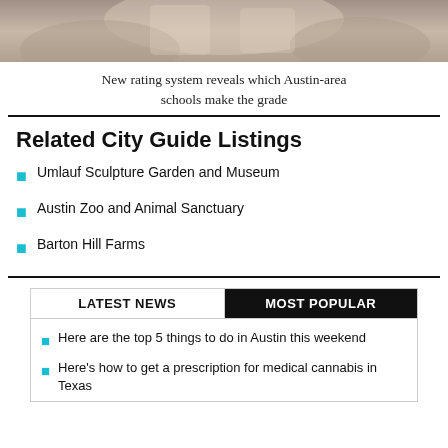[Figure (photo): Photo of students or people in a classroom/school setting]
New rating system reveals which Austin-area schools make the grade
Related City Guide Listings
Umlauf Sculpture Garden and Museum
Austin Zoo and Animal Sanctuary
Barton Hill Farms
LATEST NEWS | MOST POPULAR
Here are the top 5 things to do in Austin this weekend
Here's how to get a prescription for medical cannabis in Texas